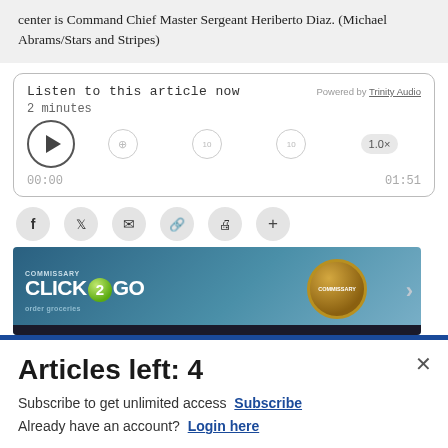center is Command Chief Master Sergeant Heriberto Diaz. (Michael Abrams/Stars and Stripes)
[Figure (screenshot): Audio player widget: Listen to this article now, 2 minutes, Powered by Trinity Audio, controls showing 00:00 / 01:51, speed 1.0x]
[Figure (infographic): Social share icons row: Facebook, Twitter, Email, Link, Print, Plus]
[Figure (screenshot): Commissary Click2Go advertisement banner with green logo ball, commissary badge, and order groceries text]
Articles left: 4
Subscribe to get unlimited access  Subscribe
Already have an account?  Login here